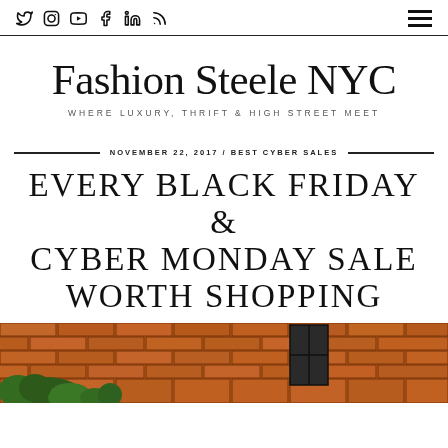Social icons: Twitter, Instagram, YouTube, Facebook, LinkedIn, RSS | Hamburger menu
Fashion Steele NYC
WHERE LUXURY, THRIFT & HIGH STREET MEET
NOVEMBER 22, 2017 / BEST CYBER SALES
EVERY BLACK FRIDAY & CYBER MONDAY SALE WORTH SHOPPING
[Figure (photo): Exterior photo of a brick building with dark windows and green plants at the base]